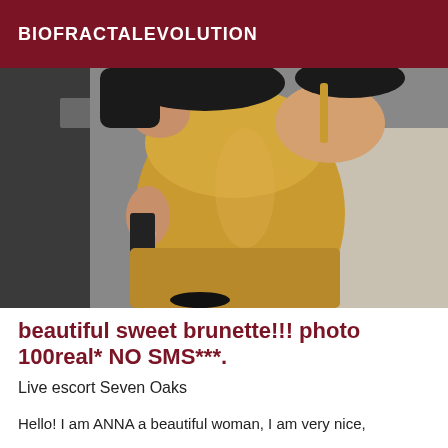BIOFRACTALEVOLUTION
[Figure (photo): A woman wearing a yellow/mustard fitted sleeveless dress, photographed from the torso down, standing indoors in front of a dark background.]
beautiful sweet brunette!!! photo 100real* NO SMS***.
Live escort Seven Oaks
Hello! I am ANNA a beautiful woman, I am very nice,